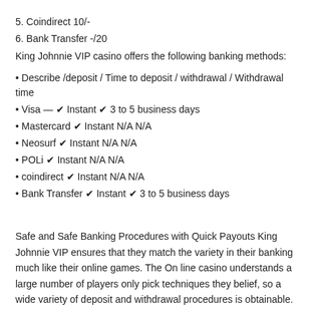5. Coindirect 10/-
6. Bank Transfer -/20
King Johnnie VIP casino offers the following banking methods:
• Describe /deposit / Time to deposit / withdrawal / Withdrawal time
• Visa — ✔ Instant ✔ 3 to 5 business days
• Mastercard ✔ Instant N/A N/A
• Neosurf ✔ Instant N/A N/A
• POLi ✔ Instant N/A N/A
• coindirect ✔ Instant N/A N/A
• Bank Transfer ✔ Instant ✔ 3 to 5 business days
Safe and Safe Banking Procedures with Quick Payouts King Johnnie VIP ensures that they match the variety in their banking much like their online games. The On line casino understands a large number of players only pick techniques they belief, so a wide variety of deposit and withdrawal procedures is obtainable.
These methods provide safe instant deposits with quickly payouts. To find out more details on the banking procedures at King Johnnie Casino,